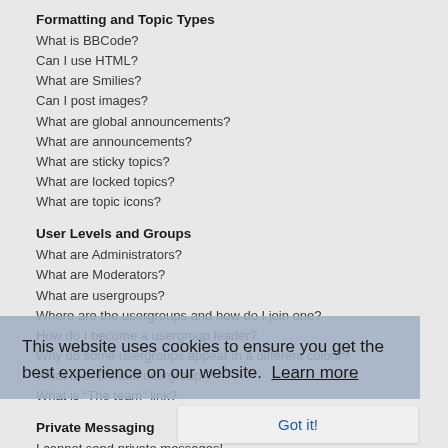Formatting and Topic Types
What is BBCode?
Can I use HTML?
What are Smilies?
Can I post images?
What are global announcements?
What are announcements?
What are sticky topics?
What are locked topics?
What are topic icons?
User Levels and Groups
What are Administrators?
What are Moderators?
What are usergroups?
Where are the usergroups and how do I join one?
How do I become a usergroup leader?
Why do some usergroups appear in a different colour?
What is a “Default usergroup”?
What is “The team” link?
Private Messaging
I cannot send private messages!
I keep getting unwanted private messages!
I have received a spamming or abusive email from someone on this
This website uses cookies to ensure you get the best experience on our website.  Learn more